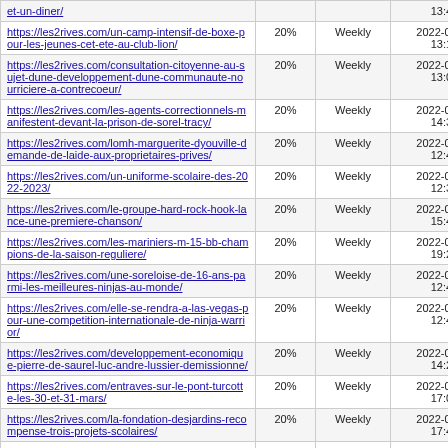| URL | Priority | Change Frequency | Last Modified |
| --- | --- | --- | --- |
| https://les2rives.com/un-camp-intensif-de-boxe-pour-les-jeunes-cet-ete-au-club-lion/ | 20% | Weekly | 2022-03-30 13:15 |
| https://les2rives.com/consultation-citoyenne-au-sujet-dune-developpement-dune-communaute-nourriciere-a-contrecoeur/ | 20% | Weekly | 2022-03-30 13:08 |
| https://les2rives.com/les-agents-correctionnels-manifestent-devant-la-prison-de-sorel-tracy/ | 20% | Weekly | 2022-03-31 14:34 |
| https://les2rives.com/lomh-marguerite-dyouville-demande-de-laide-aux-proprietaires-prives/ | 20% | Weekly | 2022-03-30 12:40 |
| https://les2rives.com/un-uniforme-scolaire-des-2022-2023/ | 20% | Weekly | 2022-03-31 12:31 |
| https://les2rives.com/le-groupe-hard-rock-hook-lance-une-premiere-chanson/ | 20% | Weekly | 2022-04-01 15:47 |
| https://les2rives.com/les-mariniers-m-15-bb-champions-de-la-saison-reguliere/ | 20% | Weekly | 2022-04-04 19:26 |
| https://les2rives.com/une-soreloise-de-16-ans-parmi-les-meilleures-ninjas-au-monde/ | 20% | Weekly | 2022-03-29 12:44 |
| https://les2rives.com/elle-se-rendra-a-las-vegas-pour-une-competition-internationale-de-ninja-warrior/ | 20% | Weekly | 2022-03-29 12:43 |
| https://les2rives.com/developpement-economique-pierre-de-saurel-luc-andre-lussier-demissionne/ | 20% | Weekly | 2022-03-30 14:28 |
| https://les2rives.com/entraves-sur-le-pont-turcotte-les-30-et-31-mars/ | 20% | Weekly | 2022-03-29 17:02 |
| https://les2rives.com/la-fondation-desjardins-recompense-trois-projets-scolaires/ | 20% | Weekly | 2022-03-31 17:44 |
| https://les2rives.com/la-region-est-prete-a-… | 20% | Weekly | 2022-03-29 |